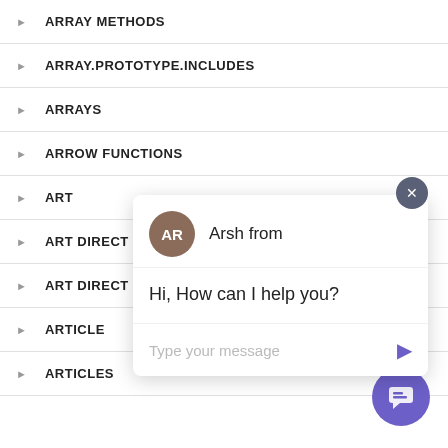ARRAY METHODS
ARRAY.PROTOTYPE.INCLUDES
ARRAYS
ARROW FUNCTIONS
ART
ART DIRECT
ART DIRECT
ARTICLE
ARTICLES
[Figure (screenshot): Chat popup with avatar AR (Arsh), message 'Hi, How can I help you?' and input field 'Type your message']